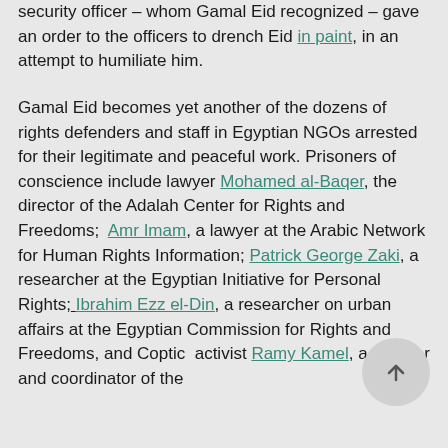security officer – whom Gamal Eid recognized – gave an order to the officers to drench Eid in paint, in an attempt to humiliate him.
Gamal Eid becomes yet another of the dozens of rights defenders and staff in Egyptian NGOs arrested for their legitimate and peaceful work. Prisoners of conscience include lawyer Mohamed al-Baqer, the director of the Adalah Center for Rights and Freedoms; Amr Imam, a lawyer at the Arabic Network for Human Rights Information; Patrick George Zaki, a researcher at the Egyptian Initiative for Personal Rights; Ibrahim Ezz el-Din, a researcher on urban affairs at the Egyptian Commission for Rights and Freedoms, and Coptic activist Ramy Kamel, a founder and coordinator of the
[Figure (other): Scroll-to-top button: circular grey button with upward arrow]